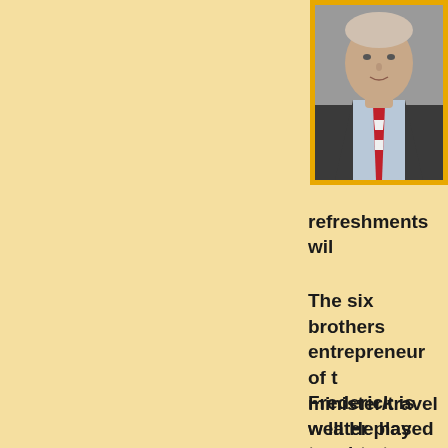[Figure (photo): Headshot photo of a man in a dark suit jacket with a light blue shirt and red tie, framed with a gold/orange border. The photo is cropped showing head and upper torso.]
refreshments wil
The six brothers entrepreneur of t minister/travel w later played by B
Frederick is well He has taught at